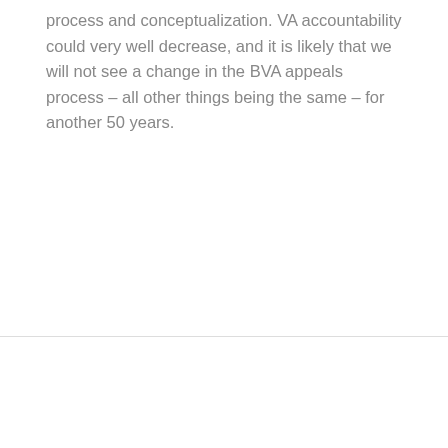process and conceptualization. VA accountability could very well decrease, and it is likely that we will not see a change in the BVA appeals process – all other things being the same – for another 50 years.